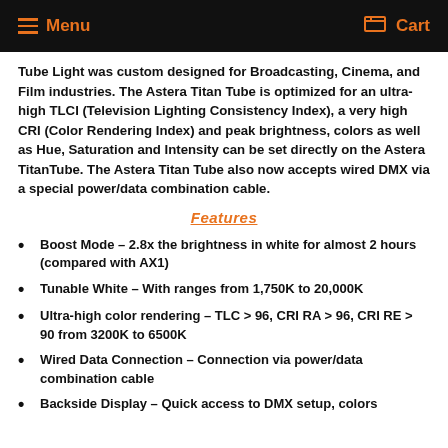Menu  Cart
Tube Light was custom designed for Broadcasting, Cinema, and Film industries. The Astera Titan Tube is optimized for an ultra-high TLCI (Television Lighting Consistency Index), a very high CRI (Color Rendering Index) and peak brightness, colors as well as Hue, Saturation and Intensity can be set directly on the Astera TitanTube. The Astera Titan Tube also now accepts wired DMX via a special power/data combination cable.
Features
Boost Mode – 2.8x the brightness in white for almost 2 hours (compared with AX1)
Tunable White – With ranges from 1,750K to 20,000K
Ultra-high color rendering – TLC > 96, CRI RA > 96, CRI RE > 90 from 3200K to 6500K
Wired Data Connection – Connection via power/data combination cable
Backside Display – Quick access to DMX setup, colors and...